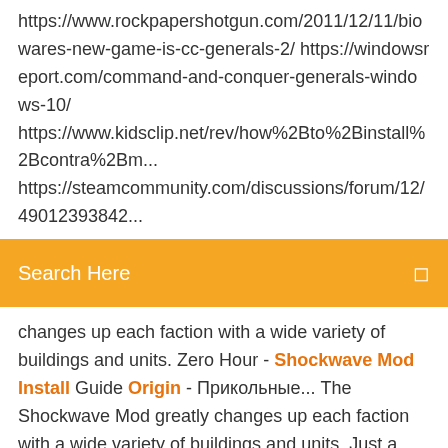https://www.rockpapershotgun.com/2011/12/11/biowares-new-game-is-cc-generals-2/ https://windowsreport.com/command-and-conquer-generals-windows-10/ https://www.kidsclip.net/rev/how%2Bto%2Binstall%2Bcontra%2Bm... https://steamcommunity.com/discussions/forum/12/49012393842...
Search Here
changes up each faction with a wide variety of buildings and units. Zero Hour - Shockwave Mod Install Guide Origin - Прикольные... The Shockwave Mod greatly changes up each faction with a wide variety of buildings and units. Just a quick video on how to install the latest version of the Shockwave Mod for Zero Hour. shockwave install for origin | Doovi this is how to install shockwave mod for origin sorry install cnc fix launcher first then shock wave 1.0 then 1.1 may need to disable avg or any Command & Conquer Generals Shockwave (Zero Hour